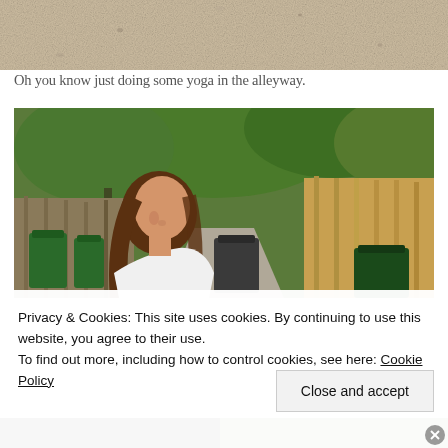[Figure (photo): Top portion of a photo showing a sandy/beige textured surface, partially cropped at top of page]
Oh you know just doing some yoga in the alleyway.
[Figure (photo): Photo of a young woman with long brown hair wearing a white top, standing in a residential alleyway with green trees, wooden fences, and trash bins in the background]
Privacy & Cookies: This site uses cookies. By continuing to use this website, you agree to their use.
To find out more, including how to control cookies, see here: Cookie Policy
[Figure (photo): Bottom edge of another photo, partially visible at bottom of page]